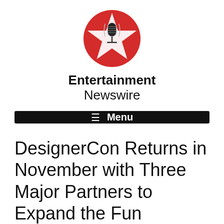[Figure (logo): Entertainment Newswire logo: red circle with a white five-pointed star outline and a vintage microphone in the center]
Entertainment Newswire
≡  Menu
DesignerCon Returns in November with Three Major Partners to Expand the Fun